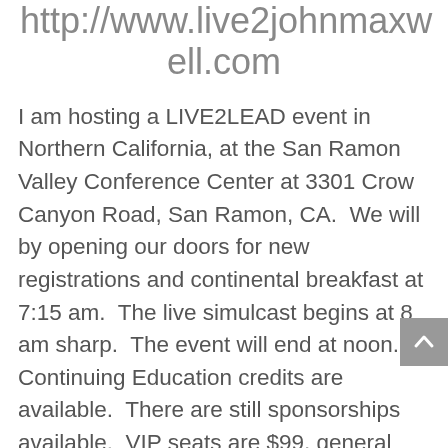http://www.live2leadmaxwell.com
I am hosting a LIVE2LEAD event in Northern California, at the San Ramon Valley Conference Center at 3301 Crow Canyon Road, San Ramon, CA.  We will by opening our doors for new registrations and continental breakfast at 7:15 am.  The live simulcast begins at 8 am sharp.  The event will end at noon.  Continuing Education credits are available.  There are still sponsorships available.  VIP seats are $99, general seats are $80, and a table of 5 is $450.  Bring your whole team and lift all their